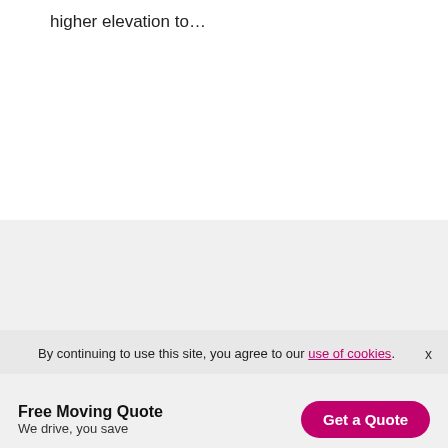higher elevation to…
[Figure (logo): U-Pack logo text partially visible, large bold italic dark grey text reading 'UPack' with trademark symbol]
By continuing to use this site, you agree to our use of cookies.
Free Moving Quote
We drive, you save
Get a Quote